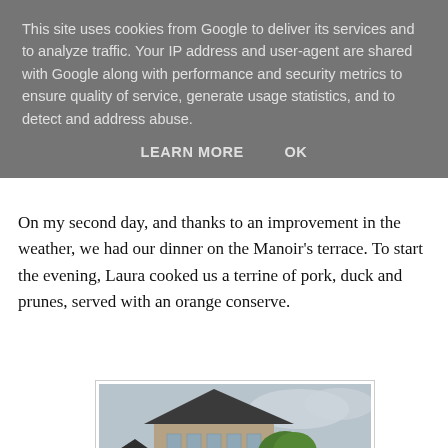This site uses cookies from Google to deliver its services and to analyze traffic. Your IP address and user-agent are shared with Google along with performance and security metrics to ensure quality of service, generate usage statistics, and to detect and address abuse.
LEARN MORE   OK
On my second day, and thanks to an improvement in the weather, we had our dinner on the Manoir’s terrace. To start the evening, Laura cooked us a terrine of pork, duck and prunes, served with an orange conserve.
[Figure (photo): A French stone manor house (Manoir) with a dark slate roof, blue shutters, and a tree in the foreground. People visible near the entrance.]